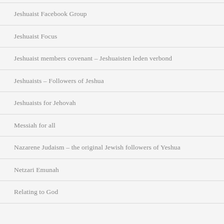Jeshuaist Facebook Group
Jeshuaist Focus
Jeshuaist members covenant – Jeshuaisten leden verbond
Jeshuaists – Followers of Jeshua
Jeshuaists for Jehovah
Messiah for all
Nazarene Judaism – the original Jewish followers of Yeshua
Netzari Emunah
Relating to God